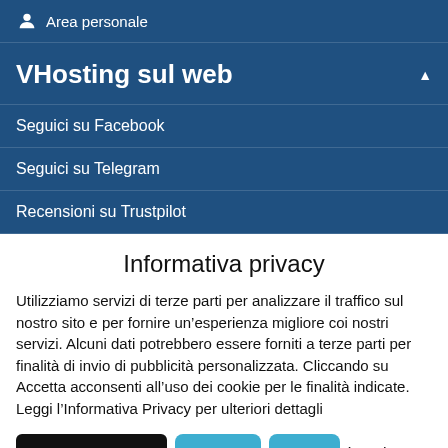Area personale
VHosting sul web
Seguici su Facebook
Seguici su Telegram
Recensioni su Trustpilot
Informativa privacy
Utilizziamo servizi di terze parti per analizzare il traffico sul nostro sito e per fornire un’esperienza migliore coi nostri servizi. Alcuni dati potrebbero essere forniti a terze parti per finalità di invio di pubblicità personalizzata. Cliccando su Accetta acconsenti all’uso dei cookie per le finalità indicate. Leggi l’Informativa Privacy per ulteriori dettagli
Impostazioni cookie | Accetta | Rifiuta | Leggi
l’informativa